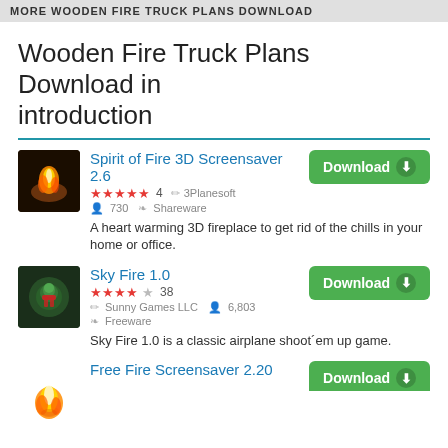MORE WOODEN FIRE TRUCK PLANS DOWNLOAD
Wooden Fire Truck Plans Download in introduction
Spirit of Fire 3D Screensaver 2.6 — ★★★★★ 4 · 3Planesoft · 730 · Shareware — A heart warming 3D fireplace to get rid of the chills in your home or office.
Sky Fire 1.0 — ★★★★☆ 38 · Sunny Games LLC · 6,803 · Freeware — Sky Fire 1.0 is a classic airplane shoot´em up game.
Free Fire Screensaver 2.20